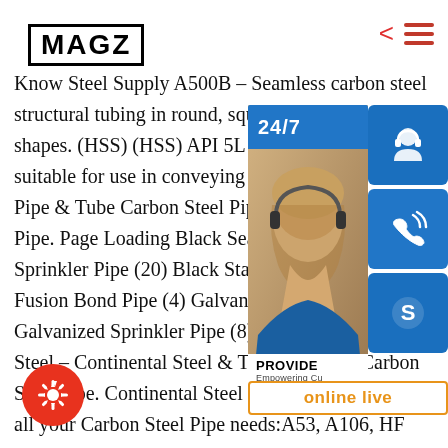MAGZ
Know Steel Supply A500B – Seamless carbon steel structural tubing in round, square and shapes. (HSS) (HSS) API 5L – Standard suitable for use in conveying gas, wat Pipe & Tube Carbon Steel Pipe Gallou Pipe. Page Loading Black Seamless Pi Sprinkler Pipe (20) Black Standard an Fusion Bond Pipe (4) Galvanized Sear Galvanized Sprinkler Pipe (8)sp.info Carbon Steel – Continental Steel & Tube CompanyCarbon Steel Pipe. Continental Steel & Tube can also supply all your Carbon Steel Pipe needs:A53, A106, HF SW, API 5L, ETC.
[Figure (infographic): Overlay panel with 24/7 customer service banner, headset icon button, phone icon button, Skype icon button, photo of support agent, PROVIDE Empowering Customers text, and orange online live button]